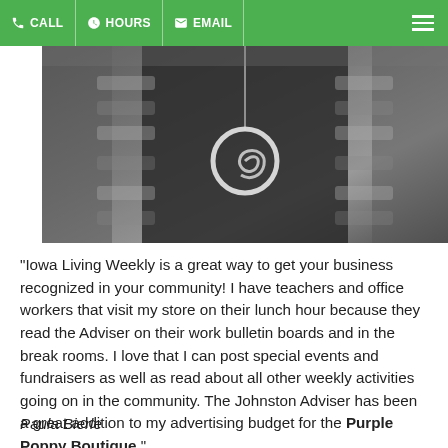CALL  HOURS  EMAIL
[Figure (photo): Black and white photo of a woman wearing a black top with a large circular spiral pendant necklace and a faux fur vest]
"Iowa Living Weekly is a great way to get your business recognized in your community!  I have teachers and office workers that visit my store on their lunch hour because they read the Adviser on their work bulletin boards and in the break rooms.  I love that I can post special events and fundraisers as well as read about all other weekly activities going on in the community. The Johnston Adviser has been a great addition to my advertising budget for the Purple Poppy Boutique."
Paula Bierle